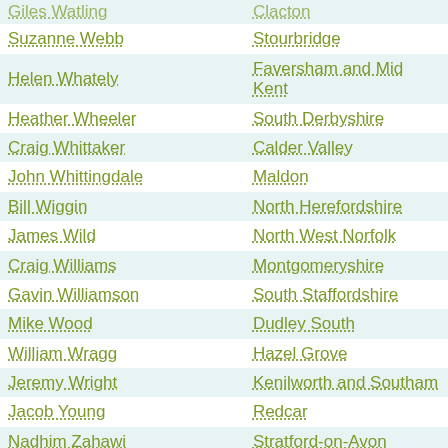| Name | Constituency |
| --- | --- |
| Giles Watling | Clacton |
| Suzanne Webb | Stourbridge |
| Helen Whately | Faversham and Mid Kent |
| Heather Wheeler | South Derbyshire |
| Craig Whittaker | Calder Valley |
| John Whittingdale | Maldon |
| Bill Wiggin | North Herefordshire |
| James Wild | North West Norfolk |
| Craig Williams | Montgomeryshire |
| Gavin Williamson | South Staffordshire |
| Mike Wood | Dudley South |
| William Wragg | Hazel Grove |
| Jeremy Wright | Kenilworth and Southam |
| Jacob Young | Redcar |
| Nadhim Zahawi | Stratford-on-Avon |
| Adam Afriyie | Windsor |
| Caroline Ansell | Eastbourne |
| Sarah Atherton | Wrexham |
| Robert Buckland | South Swindon |